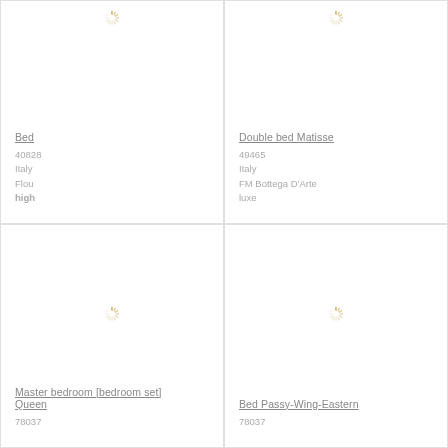[Figure (photo): Loading spinner icon (gold/yellow sunburst) for product image - top left cell, image loading]
Bed
40828
Italy
Flou
high
[Figure (photo): Loading spinner icon (gold/yellow sunburst) for product image - top right cell, image loading]
Double bed Matisse
49465
Italy
FM Bottega D'Arte
luxe
[Figure (photo): Loading spinner icon (gold/yellow sunburst) for product image - bottom left cell, image loading]
Master bedroom [bedroom set] Queen
78037
[Figure (photo): Loading spinner icon (gold/yellow sunburst) for product image - bottom right cell, image loading]
Bed Passy-Wing-Eastern
78037